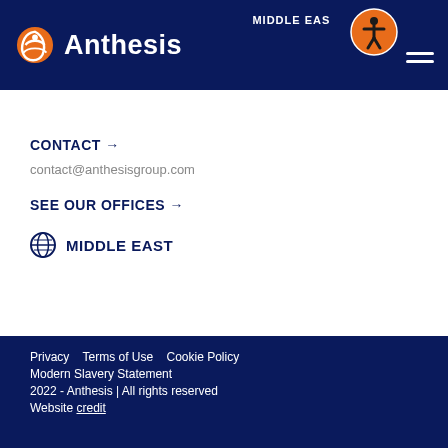MIDDLE EAST
[Figure (logo): Anthesis logo with orange circular icon and white text 'Anthesis' on dark navy background]
CONTACT → contact@anthesisgroup.com
SEE OUR OFFICES →
MIDDLE EAST
Privacy   Terms of Use   Cookie Policy   Modern Slavery Statement   2022 - Anthesis | All rights reserved   Website credit